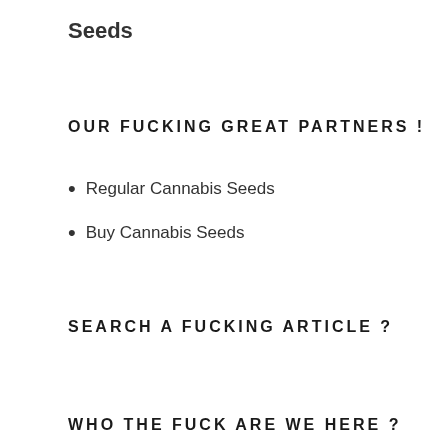Seeds
OUR FUCKING GREAT PARTNERS !
Regular Cannabis Seeds
Buy Cannabis Seeds
SEARCH A FUCKING ARTICLE ?
WHO THE FUCK ARE WE HERE ?